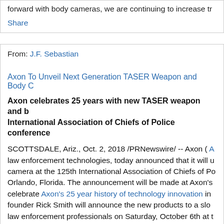forward with body cameras, we are continuing to increase tr
Share
From: J.F. Sebastian
Axon To Unveil Next Generation TASER Weapon and Body C
Axon celebrates 25 years with new TASER weapon and body camera at the International Association of Chiefs of Police conference
SCOTTSDALE, Ariz., Oct. 2, 2018 /PRNewswire/ -- Axon ( A law enforcement technologies, today announced that it will u camera at the 125th International Association of Chiefs of Po Orlando, Florida. The announcement will be made at Axon's celebrate Axon's 25 year history of technology innovation in founder Rick Smith will announce the new products to a slo law enforcement professionals on Saturday, October 6th at t
"Since the launch of our first TASER device, public safety off